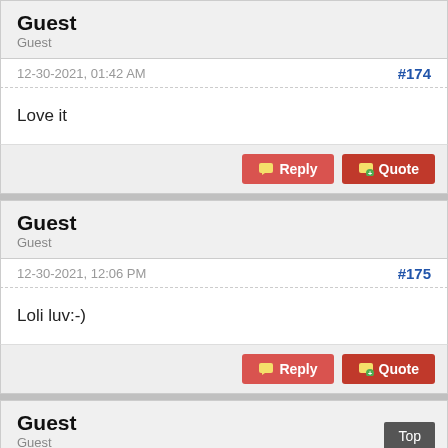Guest
Guest
12-30-2021, 01:42 AM  #174
Love it
Reply  Quote
Guest
Guest
12-30-2021, 12:06 PM  #175
Loli luv:-)
Reply  Quote
Guest
Guest
Top
12-30-2021, 12:07 PM  #176